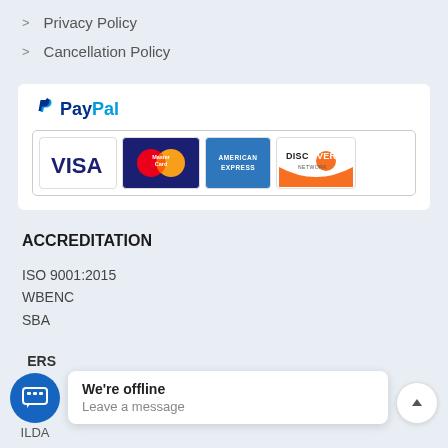> Privacy Policy
> Cancellation Policy
[Figure (logo): PayPal payment section with PayPal logo and credit card logos: VISA, MasterCard, American Express, Discover Network]
ACCREDITATION
ISO 9001:2015
WBENC
SBA
We're offline
Leave a message